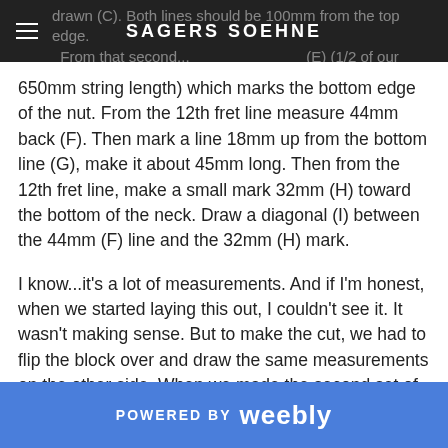SAGERS SOEHNE
drawn (C). Both lines should be 100mm from the top edge. From that second... (E) (1/2 of our 650mm string length) which marks the bottom edge of the nut. From the 12th fret line measure 44mm back (F). Then mark a line 18mm up from the bottom line (G), make it about 45mm long. Then from the 12th fret line, make a small mark 32mm (H) toward the bottom of the neck. Draw a diagonal (I) between the 44mm (F) line and the 32mm (H) mark.
I know...it's a lot of measurements. And if I'm honest, when we started laying this out, I couldn't see it. It wasn't making sense. But to make the cut, we had to flip the block over and draw the same measurements on the other side. When we made the second set of measurements, I was finally able to see how it was going to work.
POWERED BY weebly